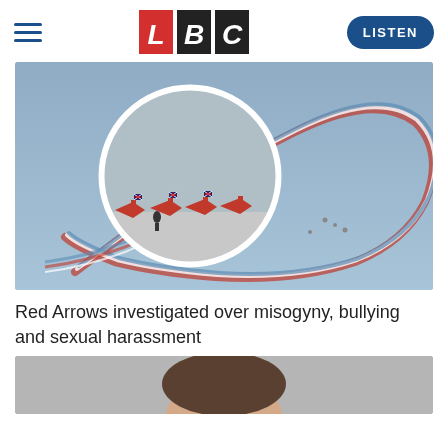LBC — LISTEN
[Figure (photo): Red Arrows aerobatic display team jets on the ground with circular inset, and aerial view of jets trailing red, white and blue smoke in a looping formation against a blue sky]
Red Arrows investigated over misogyny, bullying and sexual harassment
[Figure (photo): Partial view of a person's face at the bottom of the page, cropped]